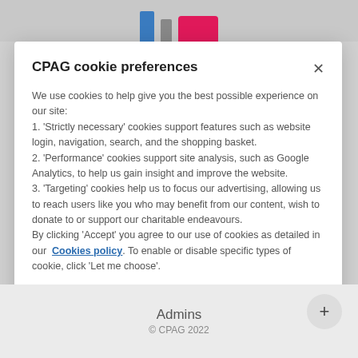CPAG cookie preferences
We use cookies to help give you the best possible experience on our site:
1. 'Strictly necessary' cookies support features such as website login, navigation, search, and the shopping basket.
2. 'Performance' cookies support site analysis, such as Google Analytics, to help us gain insight and improve the website.
3. 'Targeting' cookies help us to focus our advertising, allowing us to reach users like you who may benefit from our content, wish to donate to or support our charitable endeavours.
By clicking 'Accept' you agree to our use of cookies as detailed in our Cookies policy. To enable or disable specific types of cookie, click 'Let me choose'.
Let me choose
Accept
Admins
© CPAG 2022